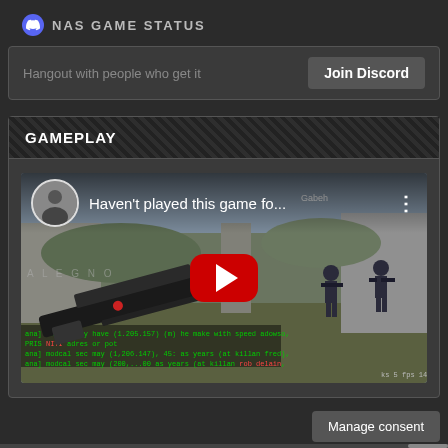NAS GAME STATUS
Hangout with people who get it
Join Discord
GAMEPLAY
[Figure (screenshot): YouTube video thumbnail showing a Counter-Strike gameplay video titled 'Haven't played this game fo...' with a red YouTube play button overlay. The video shows a first-person shooter game scene with soldiers and a weapon in the foreground. There is a channel avatar (circular photo of a person) in the top-left of the video.]
Manage consent